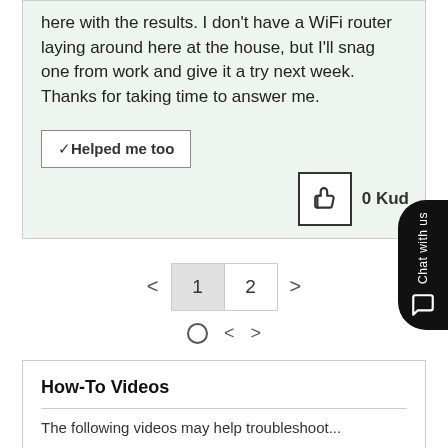here with the results. I don't have a WiFi router laying around here at the house, but I'll snag one from work and give it a try next week. Thanks for taking time to answer me.
✓ Helped me too
0 Kudos
< 1 2 >
○ < >
How-To Videos
The following videos may help troubleshoot...